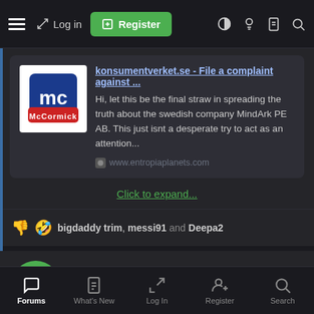Log in   Register
[Figure (screenshot): Quoted link preview: konsumentverket.se - File a complaint against ... with McCormick logo. Text: Hi, let this be the final straw in spreading the truth about the swedish company MindArk PE AB. This just isnt a desperate try to act as an attention... www.entropiaplanets.com]
Click to expand...
bigdaddy trim, messi91 and Deepa2
Korin Dante MDe
Prowler
Forums   What's New   Log In   Register   Search